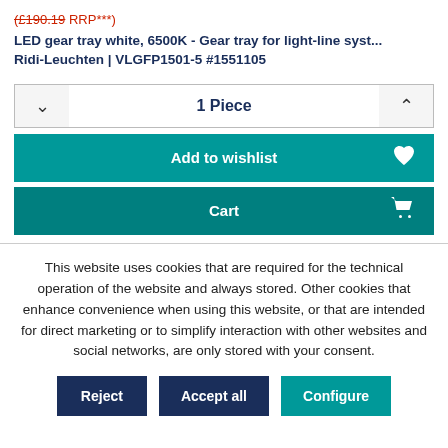(£190.19 RRP***)
LED gear tray white, 6500K - Gear tray for light-line syst... Ridi-Leuchten | VLGFP1501-5 #1551105
1 Piece
Add to wishlist
Cart
This website uses cookies that are required for the technical operation of the website and always stored. Other cookies that enhance convenience when using this website, or that are intended for direct marketing or to simplify interaction with other websites and social networks, are only stored with your consent.
Reject
Accept all
Configure